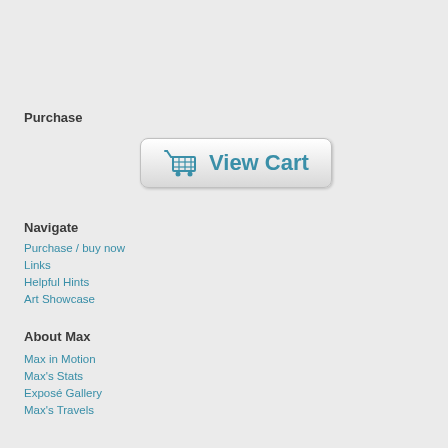Purchase
[Figure (other): View Cart button with shopping cart icon]
Navigate
Purchase / buy now
Links
Helpful Hints
Art Showcase
About Max
Max in Motion
Max's Stats
Exposé Gallery
Max's Travels